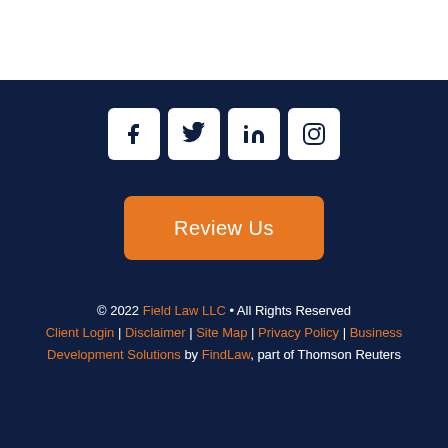[Figure (other): Social media icons: Facebook, Twitter, LinkedIn, Instagram in white rounded square boxes on dark navy background]
Review Us
© 2022 Field Law LLC • All Rights Reserved Client Login | Disclaimer | Site Map | Privacy Policy | Business Development Solutions by FindLaw, part of Thomson Reuters